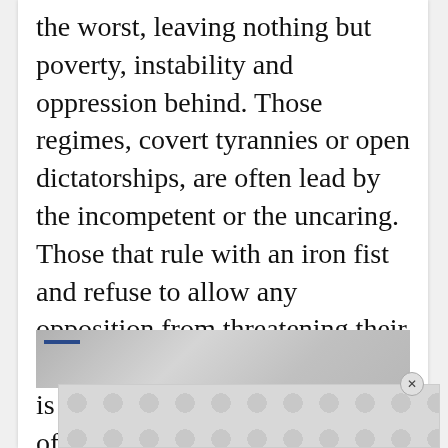the worst, leaving nothing but poverty, instability and oppression behind. Those regimes, covert tyrannies or open dictatorships, are often lead by the incompetent or the uncaring. Those that rule with an iron fist and refuse to allow any opposition from threatening their position. When personal power is more important than the good of the people, the entire country pays the price.
[Figure (photo): Partial image strip showing what appears to be people, partially obscured, with a navigation bar element visible]
[Figure (other): Advertisement banner with repeating circular dot pattern on grey background]